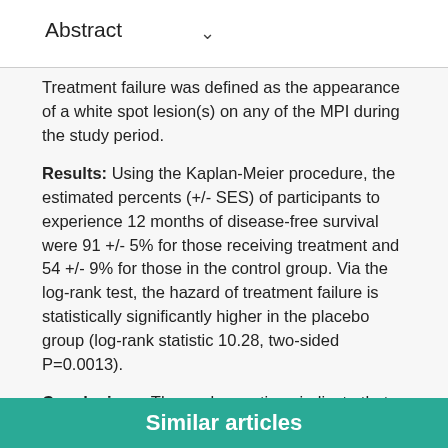Abstract ∨
Treatment failure was defined as the appearance of a white spot lesion(s) on any of the MPI during the study period.
Results: Using the Kaplan-Meier procedure, the estimated percents (+/- SES) of participants to experience 12 months of disease-free survival were 91 +/- 5% for those receiving treatment and 54 +/- 9% for those in the control group. Via the log-rank test, the hazard of treatment failure is statistically significantly higher in the placebo group (log-rank statistic 10.28, two-sided P=0.0013).
Conclusions: These observations indicate that topical antimicrobial therapy increases disease-free survival in children at high risk for ECC.
Similar articles